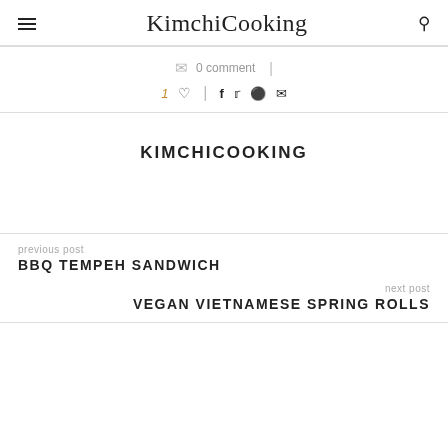KimchiCooking
0 comment
1 ♥ | f twitter pinterest email
KIMCHICOOKING
previous post
BBQ TEMPEH SANDWICH
next post
VEGAN VIETNAMESE SPRING ROLLS